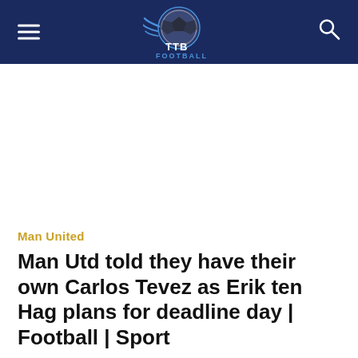TTB Football
Man United
Man Utd told they have their own Carlos Tevez as Erik ten Hag plans for deadline day | Football | Sport